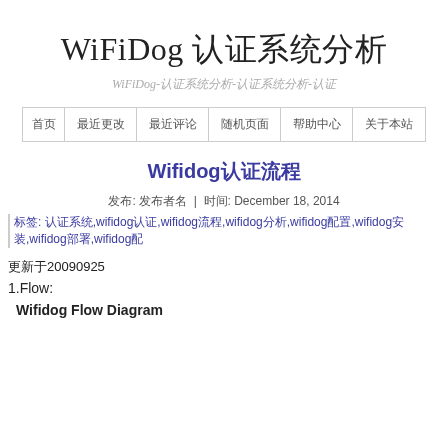WiFiDog 认证系统分析
WiFiDog-认证系统分析-认证系统分析-认证
| 首页 | 最近更改 | 最近评论 | 随机页面 | 帮助中心 | 关于本站 |
| --- | --- | --- | --- | --- | --- |
Wifidog认证流程
发布: 发布者名  |  时间: December 18, 2014
标签: 认证系统,wifidog认证,wifidog流程,wifidog分析,wifidog配置,wifidog安装,wifidog部署,wifidog配
更新于20090925
1.Flow:
Wifidog Flow Diagram